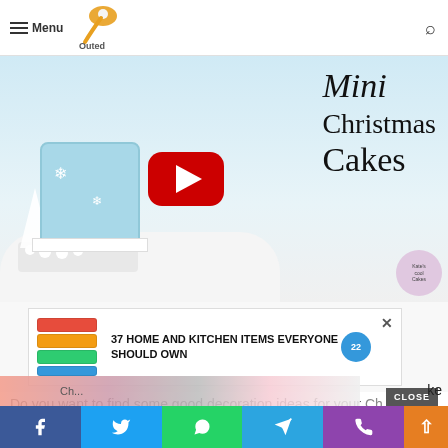Menu | Outed logo | Search
[Figure (screenshot): Video thumbnail showing Mini Christmas Cakes with a YouTube play button overlay. A light blue fondant cake decorated with snowflakes and white Christmas trees is on the left. Text reads 'Mini Christmas Cakes' on the right.]
[Figure (screenshot): Advertisement banner: '37 HOME AND KITCHEN ITEMS EVERYONE SHOULD OWN' with colorful storage bag images and a blue circular badge with '22'.]
Do you want to find some good decoration ideas for your Ch... ke
Facebook | Twitter | WhatsApp | Telegram | Phone social share buttons